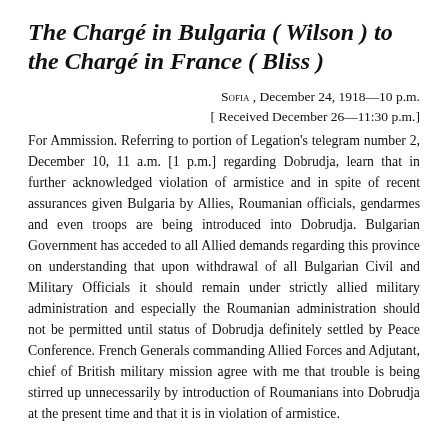The Chargé in Bulgaria ( Wilson ) to the Chargé in France ( Bliss )
Sofia , December 24, 1918—10 p.m. [ Received December 26—11:30 p.m.]
For Ammission. Referring to portion of Legation's telegram number 2, December 10, 11 a.m. [1 p.m.] regarding Dobrudja, learn that in further acknowledged violation of armistice and in spite of recent assurances given Bulgaria by Allies, Roumanian officials, gendarmes and even troops are being introduced into Dobrudja. Bulgarian Government has acceded to all Allied demands regarding this province on understanding that upon withdrawal of all Bulgarian Civil and Military Officials it should remain under strictly allied military administration and especially the Roumanian administration should not be permitted until status of Dobrudja definitely settled by Peace Conference. French Generals commanding Allied Forces and Adjutant, chief of British military mission agree with me that trouble is being stirred up unnecessarily by introduction of Roumanians into Dobrudja at the present time and that it is in violation of armistice.